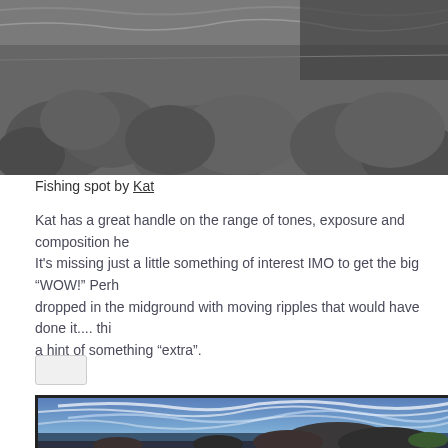[Figure (photo): Black and white photograph of rocks at a fishing spot, with water visible in the background]
Fishing spot by Kat
Kat has a great handle on the range of tones, exposure and composition he... It's missing just a little something of interest IMO to get the big “WOW!” Perh... dropped in the midground with moving ripples that would have done it.... thi... a hint of something “extra”.
[Figure (photo): HDR landscape photo showing dramatic wispy clouds in a blue sky over rocky coastal formations with water in the foreground]